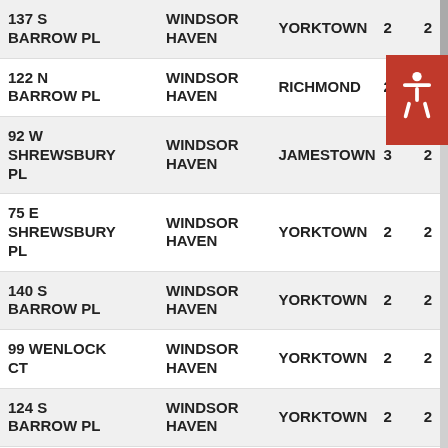| ADDRESS | NEIGHBORHOOD | WARD | BEDS | BATHS |
| --- | --- | --- | --- | --- |
| 137 S BARROW PL | WINDSOR HAVEN | YORKTOWN | 2 | 2 |
| 122 N BARROW PL | WINDSOR HAVEN | RICHMOND | 2 |  |
| 92 W SHREWSBURY PL | WINDSOR HAVEN | JAMESTOWN | 3 | 2 |
| 75 E SHREWSBURY PL | WINDSOR HAVEN | YORKTOWN | 2 | 2 |
| 140 S BARROW PL | WINDSOR HAVEN | YORKTOWN | 2 | 2 |
| 99 WENLOCK CT | WINDSOR HAVEN | YORKTOWN | 2 | 2 |
| 124 S BARROW PL | WINDSOR HAVEN | YORKTOWN | 2 | 2 |